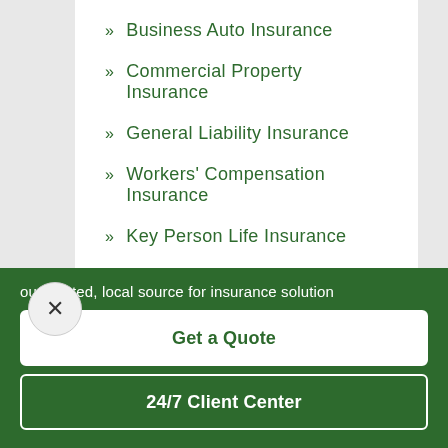» Business Auto Insurance
» Commercial Property Insurance
» General Liability Insurance
» Workers' Compensation Insurance
» Key Person Life Insurance
» See All
our trusted, local source for insurance solution
Get a Quote
24/7 Client Center